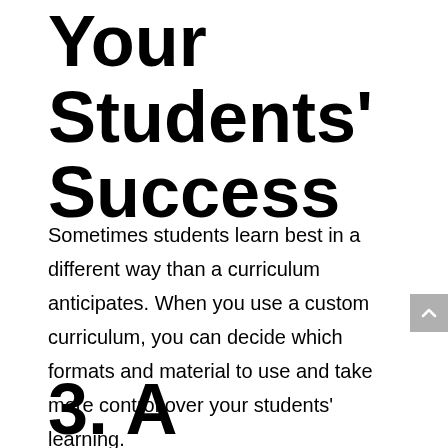Your Students' Success
Sometimes students learn best in a different way than a curriculum anticipates. When you use a custom curriculum, you can decide which formats and material to use and take more control over your students' learning.
3. A Customized